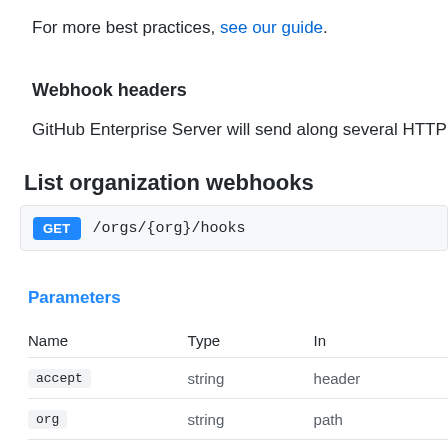For more best practices, see our guide.
Webhook headers
GitHub Enterprise Server will send along several HTTP
List organization webhooks
GET /orgs/{org}/hooks
Parameters
| Name | Type | In |
| --- | --- | --- |
| accept | string | header |
| org | string | path |